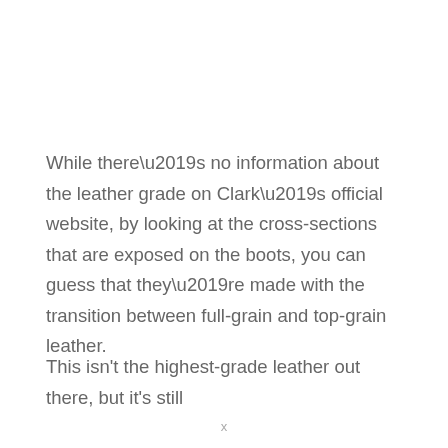While there’s no information about the leather grade on Clark’s official website, by looking at the cross-sections that are exposed on the boots, you can guess that they’re made with the transition between full-grain and top-grain leather.
This isn't the highest-grade leather out there, but it's still
x